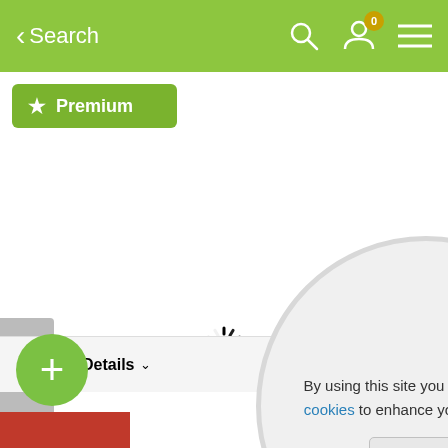[Figure (screenshot): Mobile app navigation bar with green background, back arrow labeled Search, search icon, user icon with badge showing 0, and hamburger menu icon]
Search
[Figure (screenshot): Green Premium button with star icon]
Premium
[Figure (screenshot): Loading spinner in center of page]
[Figure (screenshot): Left navigation arrow button (grey)]
[Figure (screenshot): Right navigation arrow button (dark grey)]
[Figure (infographic): Cookie consent popup in circular overlay: 'By using this site you agree to use of cookies to enhance your experience.' with Got it button]
By using this site you agree to use of cookies to enhance your experience.
Got it
Details
[Figure (screenshot): Green circular plus (+) button at bottom left]